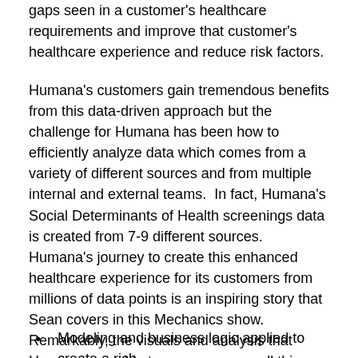gaps seen in a customer's healthcare requirements and improve that customer's healthcare experience and reduce risk factors.
Humana's customers gain tremendous benefits from this data-driven approach but the challenge for Humana has been how to efficiently analyze data which comes from a variety of different sources and from multiple internal and external teams.  In fact, Humana's Social Determinants of Health screenings data is created from 7-9 different sources.  Humana's journey to create this enhanced healthcare experience for its customers from millions of data points is an inspiring story that Sean covers in this Mechanics show.  Remarkably, the visuals and analysis that Humana was able to assess across all this data took only three months to create.  Check out the show and get the details on how Human utilizes Power BI and Azure as Sean covers:
Modeling and business logic applied to create a rich,